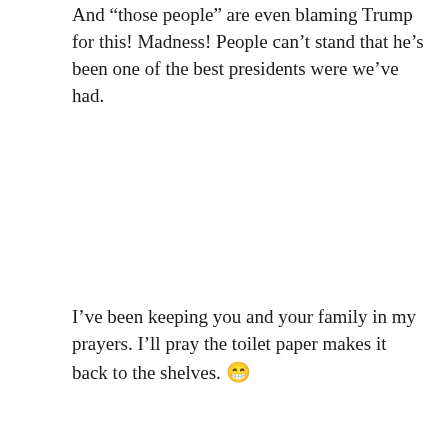And “those people” are even blaming Trump for this! Madness! People can’t stand that he’s been one of the best presidents were we’ve had.
I’ve been keeping you and your family in my prayers. I’ll pray the toilet paper makes it back to the shelves. 😁
★ Liked by 2 people
Log in to Reply
Ryan Callahan
March 9, 2020 at 5:52 pm